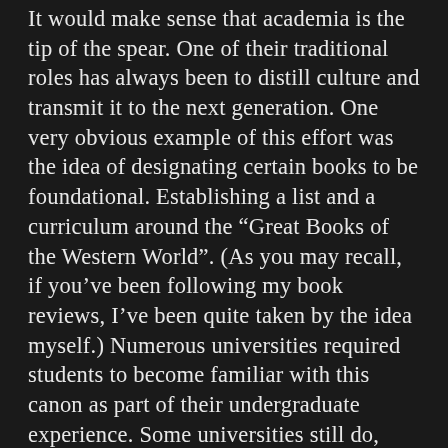It would make sense that academia is the tip of the spear. One of their traditional roles has always been to distill culture and transmit it to the next generation. One very obvious example of this effort was the idea of designating certain books to be foundational. Establishing a list and a curriculum around the “Great Books of the Western World”. (As you may recall, if you’ve been following my book reviews, I’ve been quite taken by the idea myself.) Numerous universities required students to become familiar with this canon as part of their undergraduate experience. Some universities still do, though these days they inevitably include books from outside of the West. And even with that adjustment, the practice is controversial enough that Roosevelt Montás, the director for Columbia’s version of the program, wrote a whole book defending the endeavor: Rescuing Socrates: How the Great Books Changed My Life and Why They Matter for a New Generation (reviewed here.)